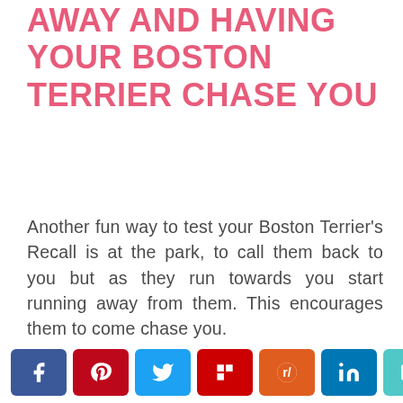AWAY AND HAVING YOUR BOSTON TERRIER CHASE YOU
Another fun way to test your Boston Terrier's Recall is at the park, to call them back to you but as they run towards you start running away from them. This encourages them to come chase you.
In this scenario a jackpot treat party is in order once they come to your
< 323 SHARES